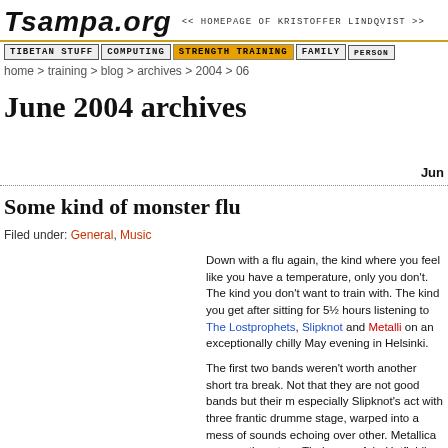Tsampa.org << HOMEPAGE OF KRISTOFFER LINDQVIST >>
TIBETAN STUFF | COMPUTING | STRENGTH TRAINING | FAMILY | PERSONAL
home > training > blog > archives > 2004 > 06
June 2004 archives
Jun
Some kind of monster flu
Filed under: General, Music
[Figure (photo): Concert ticket for Metallica + Special Guests, Pe 28.5.04 klo 17.30-(ovet 17), Olympiastadion Helsinki, Portilla turvatarkastus, Katsomo A4, Rivi 2, Paikka 31, Hinta EUR 59.00, with barcode]
Down with a flu again, the kind where you feel like you have a temperature, only you don't. The kind you don't want to train with. The kind you get after sitting for 5½ hours listening to The Lostprophets, Slipknot and Metallica on an exceptionally chilly May evening in Helsinki.
The first two bands weren't worth another short train break. Not that they are not good bands but their music, especially Slipknot's act with three frantic drummers on stage, warped into a mess of sounds echoing over each other. Metallica was another story. Their powerful mix with Hetfield's strong vocals sounded great even in the unmerciful acoustic environment provided by the